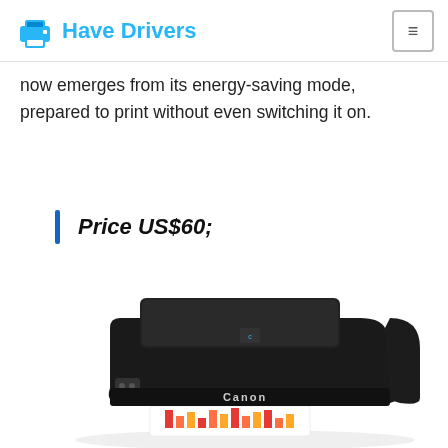Have Drivers
now emerges from its energy-saving mode, prepared to print without even switching it on.
Price US$60;
[Figure (photo): Canon inkjet all-in-one printer (black) shown at an angle with printed pages coming out of the front tray.]